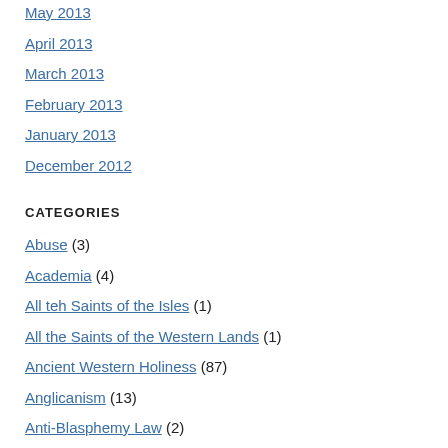May 2013
April 2013
March 2013
February 2013
January 2013
December 2012
CATEGORIES
Abuse (3)
Academia (4)
All teh Saints of the Isles (1)
All the Saints of the Western Lands (1)
Ancient Western Holiness (87)
Anglicanism (13)
Anti-Blasphemy Law (2)
Antichrist (82)